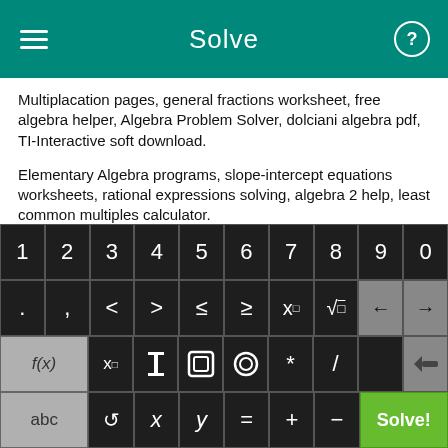Solve
Multiplacation pages, general fractions worksheet, free algebra helper, Algebra Problem Solver, dolciani algebra pdf, TI-Interactive soft download.
Elementary Algebra programs, slope-intercept equations worksheets, rational expressions solving, algebra 2 help, least common multiples calculator.
Math worksheet cheats, prentice hall instructor resource manual
[Figure (screenshot): On-screen math keyboard with numeric row (1-0), symbol row (. , < > ≤ ≥ x^ √ ← →), function row (f(x) x□ fraction absolute value parentheses * / delete), and bottom row (abc ↺ x y = + − Solve!) with green Solve! button]